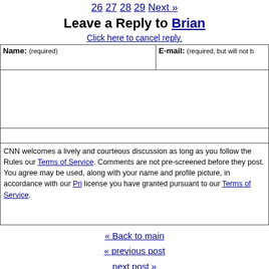26 27 28 29 Next »
Leave a Reply to Brian
Click here to cancel reply.
| Name: (required) | E-mail: (required, but will not b… |
| --- | --- |
CNN welcomes a lively and courteous discussion as long as you follow the Rules our Terms of Service. Comments are not pre-screened before they post. You agree may be used, along with your name and profile picture, in accordance with our Pri license you have granted pursuant to our Terms of Service.
« Back to main
« previous post
next post »
Recent Highlights